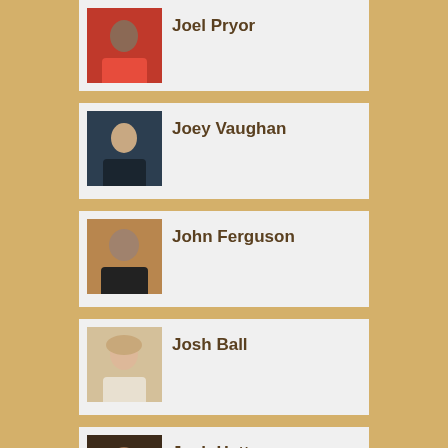Joel Pryor
Joey Vaughan
John Ferguson
Josh Ball
Josh Hatton
Justin Hayes